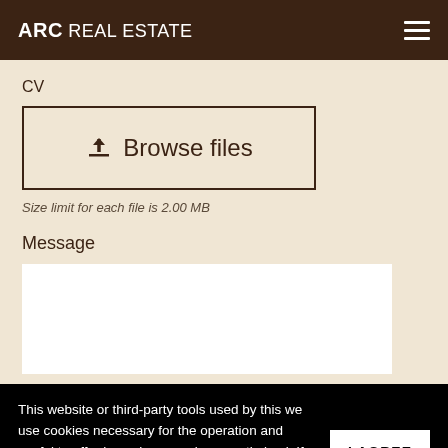ARC REAL ESTATE
CV
[Figure (other): Browse files upload button with upload icon]
Size limit for each file is 2.00 MB
Message
[Figure (other): Message text area input box]
This website or third-party tools used by this we use cookies necessary for the operation and useful to offer browsing experience optimized. If you want to learn more or opt out go to the section Privacy Policy.